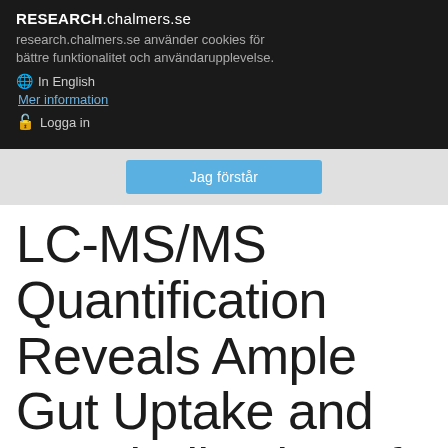RESEARCH.chalmers.se
research.chalmers.se använder cookies för bättre funktionalitet och användarupplevelse.
🌐 In English
Mer information
🔓 Logga in
Jag förstår
LC-MS/MS Quantification Reveals Ample Gut Uptake and Metabolization of Dietary Phytochemicals in Human Duoc (Anim...